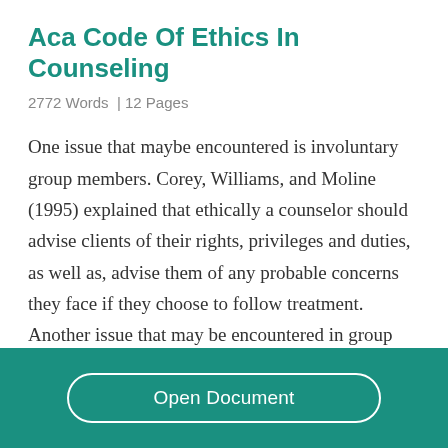Aca Code Of Ethics In Counseling
2772 Words  | 12 Pages
One issue that maybe encountered is involuntary group members. Corey, Williams, and Moline (1995) explained that ethically a counselor should advise clients of their rights, privileges and duties, as well as, advise them of any probable concerns they face if they choose to follow treatment. Another issue that may be encountered in group therapy is informed consent, which is extremely
Open Document